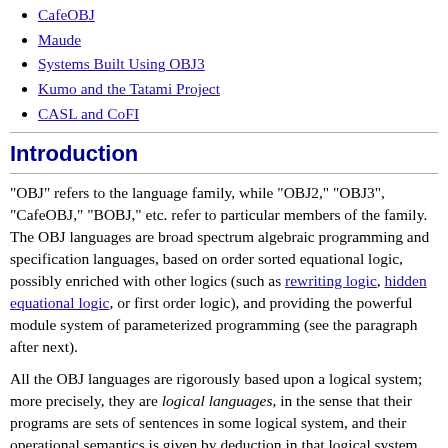CafeOBJ
Maude
Systems Built Using OBJ3
Kumo and the Tatami Project
CASL and CoFI
Introduction
"OBJ" refers to the language family, while "OBJ2," "OBJ3", "CafeOBJ," "BOBJ," etc. refer to particular members of the family. The OBJ languages are broad spectrum algebraic programming and specification languages, based on order sorted equational logic, possibly enriched with other logics (such as rewriting logic, hidden equational logic, or first order logic), and providing the powerful module system of parameterized programming (see the paragraph after next).
All the OBJ languages are rigorously based upon a logical system; more precisely, they are logical languages, in the sense that their programs are sets of sentences in some logical system, and their operational semantics is given by deduction in that logical system. All recent OBJ languages use some version of order sorted algebra, which provides a rigorous basis for user definable sub-types, exception handling, multiple inheritance, overloading, multiple